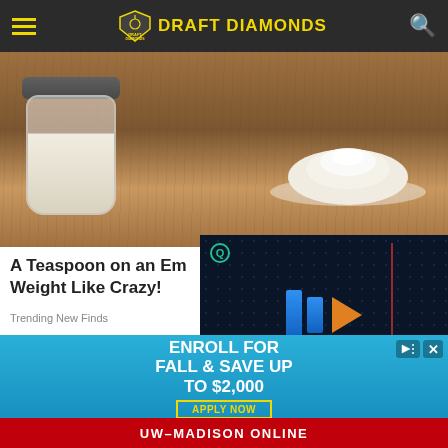Draft Diamonds
[Figure (photo): White powder in a glass jar and a pile of white powder on a wooden surface]
A Teaspoon on an Empty Stomach Drops Weight Like Crazy!
Trending New Finds
[Figure (photo): Video player overlay on dark background with blue geometric play bars and orange play triangle]
[Figure (photo): Brown earthy powder or soil close-up]
[Figure (photo): Advertisement: ENROLL FOR FALL & SAVE UP TO $2,000 APPLY NOW — UW-MADISON ONLINE]